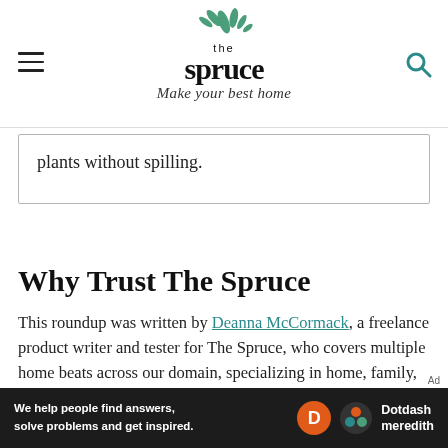the spruce — Make your best home
plants without spilling.
Why Trust The Spruce
This roundup was written by Deanna McCormack, a freelance product writer and tester for The Spruce, who covers multiple home beats across our domain, specializing in home, family, and outdoor reviews and lists. To make her selections for best watering cans, she
[Figure (logo): Dotdash Meredith advertisement banner at the bottom of the page with text: We help people find answers, solve problems and get inspired.]